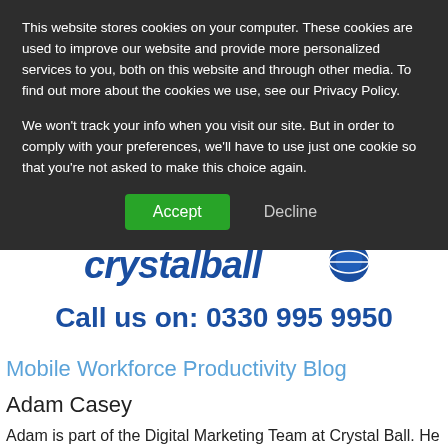This website stores cookies on your computer. These cookies are used to improve our website and provide more personalized services to you, both on this website and through other media. To find out more about the cookies we use, see our Privacy Policy.
We won't track your info when you visit our site. But in order to comply with your preferences, we'll have to use just one cookie so that you're not asked to make this choice again.
[Figure (other): Accept and Decline cookie consent buttons]
[Figure (logo): CrystalBall logo with blue stylized text and globe icon]
Call us on: 0330 995 9950
Mobile Workforce Productivity Blog
Adam Casey
Adam is part of the Digital Marketing Team at Crystal Ball. He frequently blogs about the latest news and